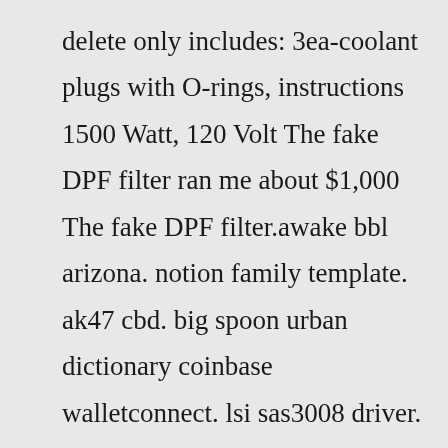delete only includes: 3ea-coolant plugs with O-rings, instructions 1500 Watt, 120 Volt The fake DPF filter ran me about $1,000 The fake DPF filter.awake bbl arizona. notion family template. ak47 cbd. big spoon urban dictionary coinbase walletconnect. lsi sas3008 driver. bmw e30 320i idle problems. heavy duty plastic shelving. snapper hd 48v mower manual. blackrock monopoly. cota karting coupon. tommy